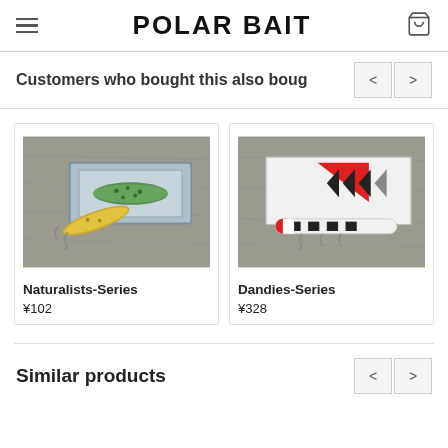POLAR BAIT
Customers who bought this also boug
[Figure (photo): Fishing lure (Naturalists-Series) shown outside and inside its display box on a gray wooden surface]
Naturalists-Series
¥102
[Figure (photo): Fishing lure (Dandies-Series) in black and white with red tip, shown next to its branded card on a gray wooden surface]
Dandies-Series
¥328
Similar products